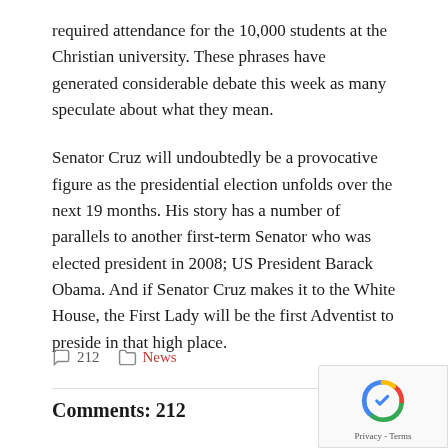required attendance for the 10,000 students at the Christian university. These phrases have generated considerable debate this week as many speculate about what they mean.
Senator Cruz will undoubtedly be a provocative figure as the presidential election unfolds over the next 19 months. His story has a number of parallels to another first-term Senator who was elected president in 2008; US President Barack Obama. And if Senator Cruz makes it to the White House, the First Lady will be the first Adventist to preside in that high place.
212  News
Comments: 212